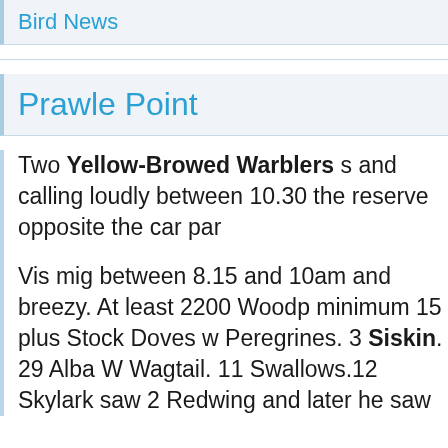Bird News
Prawle Point
Two Yellow-Browed Warblers s and calling loudly between 10.30 the reserve opposite the car par
Vis mig between 8.15 and 10am and breezy. At least 2200 Woodp minimum 15 plus Stock Doves w Peregrines. 3 Siskin. 29 Alba W Wagtail. 11 Swallows.12 Skylark saw 2 Redwing and later he saw